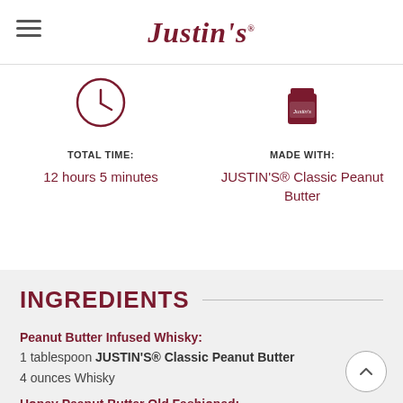Justin's
[Figure (illustration): Clock icon indicating total time]
TOTAL TIME:
12 hours 5 minutes
[Figure (illustration): Justin's product bottle icon]
MADE WITH:
JUSTIN'S® Classic Peanut Butter
INGREDIENTS
Peanut Butter Infused Whisky:
1 tablespoon JUSTIN'S® Classic Peanut Butter
4 ounces Whisky
Honey Peanut Butter Old Fashioned: